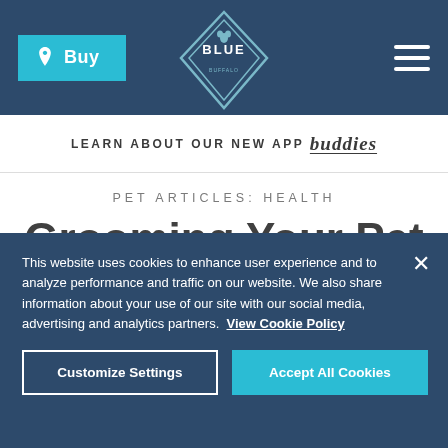Buy | BLUE Buffalo Logo | [menu]
LEARN ABOUT OUR NEW APP buddies
PET ARTICLES: HEALTH
Grooming Your Pet—From Head to Paws
This website uses cookies to enhance user experience and to analyze performance and traffic on our website. We also share information about your use of our site with our social media, advertising and analytics partners.  View Cookie Policy
Customize Settings | Accept All Cookies